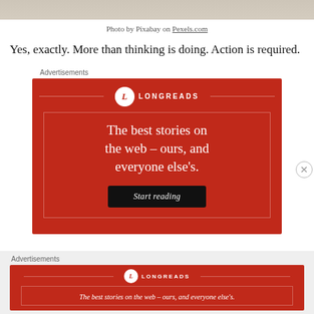[Figure (photo): Partial photo strip at top of page, showing a light beige/sandy texture]
Photo by Pixabay on Pexels.com
Yes, exactly. More than thinking is doing. Action is required.
Advertisements
[Figure (other): Longreads advertisement banner: red background, Longreads logo and name, headline 'The best stories on the web – ours, and everyone else's.', black 'Start reading' button]
Advertisements
[Figure (other): Longreads mini advertisement bar at bottom: red background, Longreads logo and name, text 'The best stories on the web – ours, and everyone else's.']